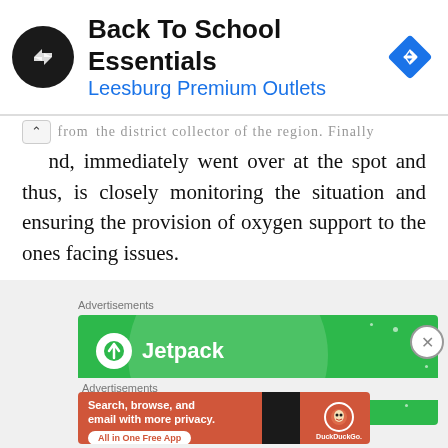[Figure (infographic): Top banner ad: Back To School Essentials, Leesburg Premium Outlets, with circular logo icon and blue diamond navigation icon]
...from the district collector of the region. Finally hand, immediately went over at the spot and thus, is closely monitoring the situation and ensuring the provision of oxygen support to the ones facing issues.
Advertisements
[Figure (infographic): Jetpack advertisement on green background with logo and tagline 'We guard your']
Advertisements
[Figure (infographic): DuckDuckGo advertisement: Search, browse, and email with more privacy. All in One Free App. Orange background with phone mockup and DuckDuckGo logo.]